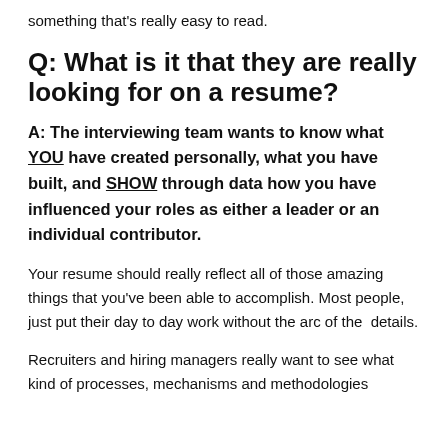something that's really easy to read.
Q: What is it that they are really looking for on a resume?
A: The interviewing team wants to know what YOU have created personally, what you have built, and SHOW through data how you have influenced your roles as either a leader or an individual contributor.
Your resume should really reflect all of those amazing things that you've been able to accomplish. Most people, just put their day to day work without the arc of the details.
Recruiters and hiring managers really want to see what kind of processes, mechanisms and methodologies